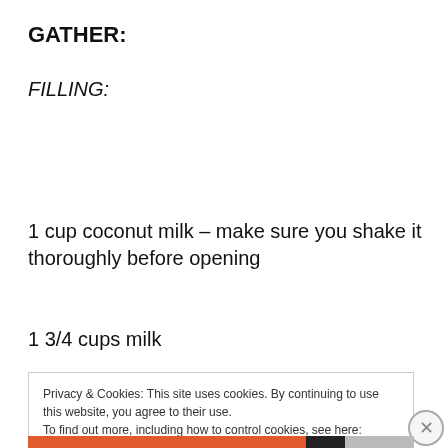GATHER:
FILLING:
1 cup coconut milk – make sure you shake it thoroughly before opening
1 3/4 cups milk
Privacy & Cookies: This site uses cookies. By continuing to use this website, you agree to their use.
To find out more, including how to control cookies, see here: Cookie Policy